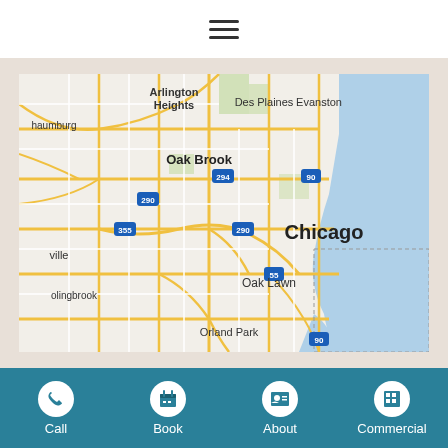[Figure (screenshot): Top navigation bar with hamburger menu icon (three horizontal lines)]
[Figure (map): Google Maps view of Chicago metropolitan area showing Arlington Heights, Des Plaines, Evanston, Schaumburg, Oak Brook, Oak Lawn, Bolingbrook, Orland Park, and Chicago city label. Highways 290, 294, 355, 55, 90 visible. Lake Michigan shown in blue on the right side.]
[Figure (screenshot): Bottom navigation bar with four items: Call (phone icon), Book (calendar icon), About (contact card icon), Commercial (building icon). Teal/dark cyan background.]